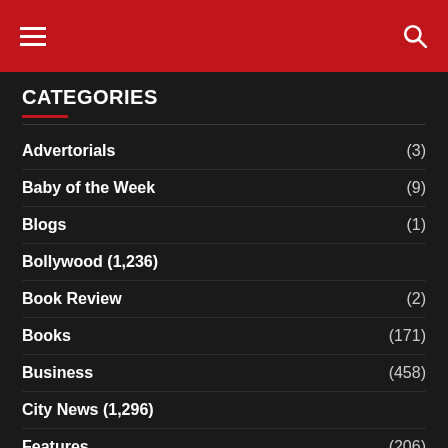Navigation header with hamburger menu and search icon
CATEGORIES
Advertorials (3)
Baby of the Week (9)
Blogs (1)
Bollywood (1,236)
Book Review (2)
Books (171)
Business (458)
City News (1,296)
Features (206)
Photos of the Day
Health (167)
Healthwise (4)